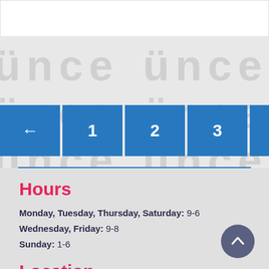[Figure (screenshot): Pagination navigation bar with blue square buttons: left arrow, 1, 2, 3, ..., 23, 24, 25]
Hours
Monday, Tuesday, Thursday, Saturday: 9-6
Wednesday, Friday: 9-8
Sunday: 1-6
Location
871 Montauk Hwy, Montauk, NY 11954
Map & Directions